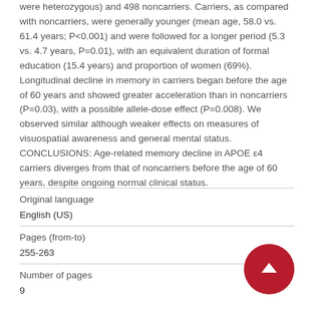were heterozygous) and 498 noncarriers. Carriers, as compared with noncarriers, were generally younger (mean age, 58.0 vs. 61.4 years; P<0.001) and were followed for a longer period (5.3 vs. 4.7 years, P=0.01), with an equivalent duration of formal education (15.4 years) and proportion of women (69%). Longitudinal decline in memory in carriers began before the age of 60 years and showed greater acceleration than in noncarriers (P=0.03), with a possible allele-dose effect (P=0.008). We observed similar although weaker effects on measures of visuospatial awareness and general mental status. CONCLUSIONS: Age-related memory decline in APOE ε4 carriers diverges from that of noncarriers before the age of 60 years, despite ongoing normal clinical status.
| Field | Value |
| --- | --- |
| Original language | English (US) |
| Pages (from-to) | 255-263 |
| Number of pages | 9 |